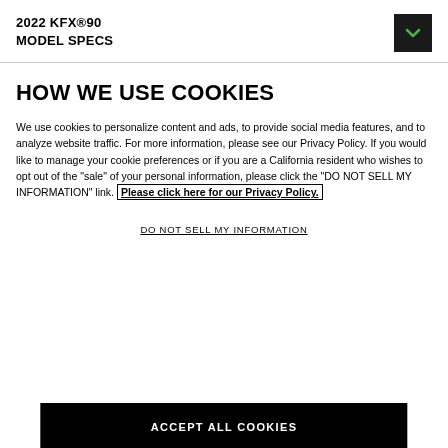2022 KFX®90
MODEL SPECS
HOW WE USE COOKIES
We use cookies to personalize content and ads, to provide social media features, and to analyze website traffic. For more information, please see our Privacy Policy. If you would like to manage your cookie preferences or if you are a California resident who wishes to opt out of the "sale" of your personal information, please click the "DO NOT SELL MY INFORMATION" link. Please click here for our Privacy Policy.
DO NOT SELL MY INFORMATION
ACCEPT ALL COOKIES